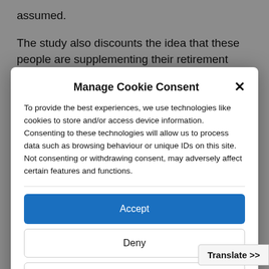assumed.
The study also discounts the idea that these people are supplementing their retirement income. Just over a third
Manage Cookie Consent
To provide the best experiences, we use technologies like cookies to store and/or access device information. Consenting to these technologies will allow us to process data such as browsing behaviour or unique IDs on this site. Not consenting or withdrawing consent, may adversely affect certain features and functions.
Accept
Deny
View preferences
Cookie Policy   Privacy Policy
Translate >>